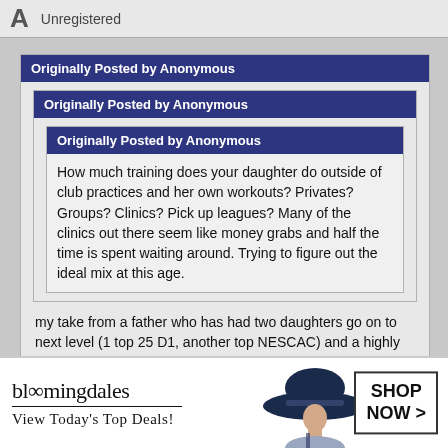Unregistered
Originally Posted by Anonymous
Originally Posted by Anonymous
Originally Posted by Anonymous
How much training does your daughter do outside of club practices and her own workouts? Privates? Groups? Clinics? Pick up leagues? Many of the clinics out there seem like money grabs and half the time is spent waiting around. Trying to figure out the ideal mix at this age.
my take from a father who has had two daughters go on to next level (1 top 25 D1, another top NESCAC) and a highly rated 24.
[Figure (screenshot): Bloomingdale's advertisement banner with logo, 'View Today's Top Deals!' tagline, woman with hat image, and 'SHOP NOW >' button]